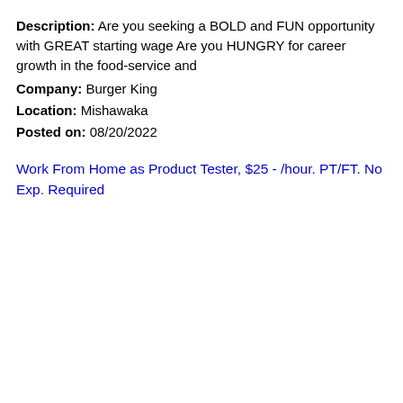Description: Are you seeking a BOLD and FUN opportunity with GREAT starting wage Are you HUNGRY for career growth in the food-service and
Company: Burger King
Location: Mishawaka
Posted on: 08/20/2022
Work From Home as Product Tester, $25 - /hour. PT/FT. No Exp. Required